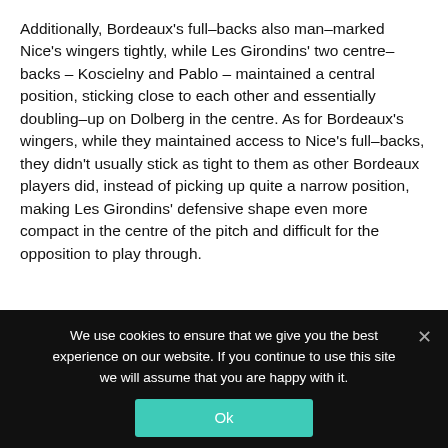Additionally, Bordeaux's full-backs also man-marked Nice's wingers tightly, while Les Girondins' two centre-backs – Koscielny and Pablo – maintained a central position, sticking close to each other and essentially doubling-up on Dolberg in the centre. As for Bordeaux's wingers, while they maintained access to Nice's full-backs, they didn't usually stick as tight to them as other Bordeaux players did, instead of picking up quite a narrow position, making Les Girondins' defensive shape even more compact in the centre of the pitch and difficult for the opposition to play through.
We use cookies to ensure that we give you the best experience on our website. If you continue to use this site we will assume that you are happy with it.
Ok